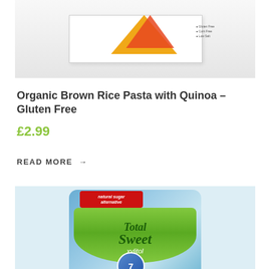[Figure (photo): Product photo of Organic Brown Rice Pasta with Quinoa box, showing orange and red geometric triangle design on white box packaging]
Organic Brown Rice Pasta with Quinoa – Gluten Free
£2.99
READ MORE →
[Figure (photo): Product photo of Total Sweet xylitol bag – blue and green packaging with red banner reading 'natural sugar alternative', green label with 'Total Sweet xylitol' branding, partial view cropped at bottom]